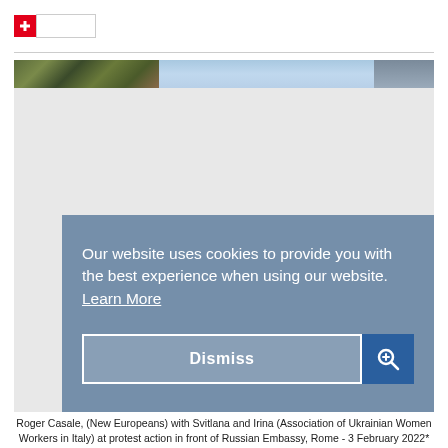Swiss confederation logo / flag icon
[Figure (screenshot): Website screenshot showing a partially visible header photo strip of people and sky, with a grey content area below. A blue-grey cookie consent overlay covers the lower portion of the image area, containing cookie notice text and a Dismiss button.]
Our website uses cookies to provide you with the best experience when using our website. Learn More
Dismiss
Roger Casale, (New Europeans) with Svitlana and Irina (Association of Ukrainian Women Workers in Italy) at protest action in front of Russian Embassy, Rome - 3 February 2022*